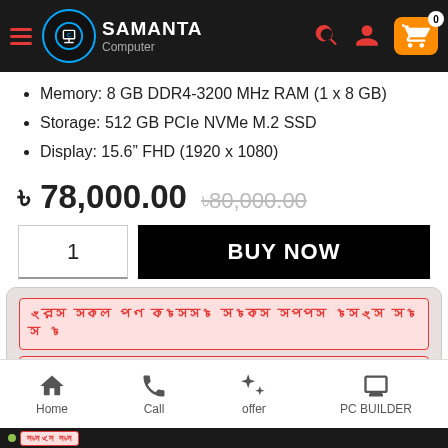Samanta Computer - navigation header
Memory: 8 GB DDR4-3200 MHz RAM (1 x 8 GB)
Storage: 512 GB PCIe NVMe M.2 SSD
Display: 15.6" FHD (1920 x 1080)
৳ 78,000.00  ৳80,000.00 (strikethrough)
BUY NOW — quantity: 1
[Figure (screenshot): Promotional offer text in Bengali script shown in red on pink/red background, three lines of offer text]
Home | Call | offer | PC BUILDER